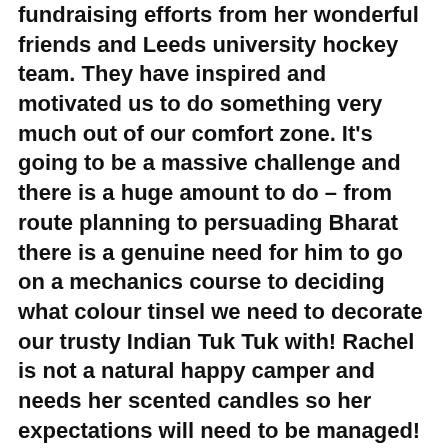fundraising efforts from her wonderful friends and Leeds university hockey team. They have inspired and motivated us to do something very much out of our comfort zone. It's going to be a massive challenge and there is a huge amount to do – from route planning to persuading Bharat there is a genuine need for him to go on a mechanics course to deciding what colour tinsel we need to decorate our trusty Indian Tuk Tuk with! Rachel is not a natural happy camper and needs her scented candles so her expectations will need to be managed! Not to mention poor James who will be spending 6 weeks in a tuk tuk with Amy's parents!
We're going to leave in September and start our journey though the UK, France, Belgium.......Macedonia, Albania etc. until we end up, 21 countries (and 6 weeks) later in Istanbul. The tiny tuk tuk has little or no suspension, is exposed